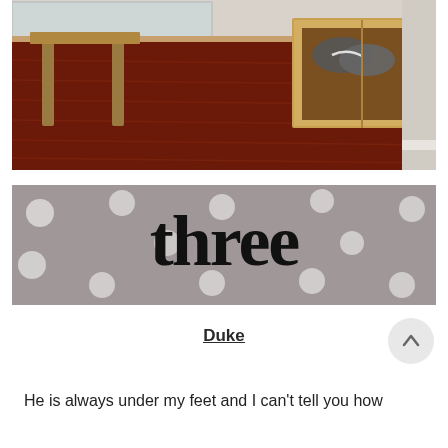[Figure (photo): Interior room photo showing dark hardwood floor with a wooden bench/table and a wooden shoe storage cube containing sneakers]
[Figure (illustration): Gray background banner with white polka dots and bold black serif text reading 'three']
Duke
He is always under my feet and I can't tell you how